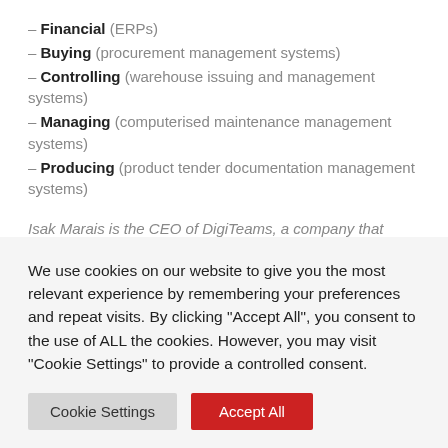– Financial (ERPs)
– Buying (procurement management systems)
– Controlling (warehouse issuing and management systems)
– Managing (computerised maintenance management systems)
– Producing (product tender documentation management systems)
Isak Marais is the CEO of DigiTeams, a company that
We use cookies on our website to give you the most relevant experience by remembering your preferences and repeat visits. By clicking "Accept All", you consent to the use of ALL the cookies. However, you may visit "Cookie Settings" to provide a controlled consent.
Cookie Settings
Accept All